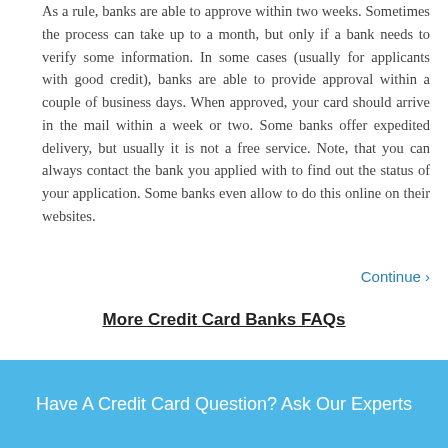As a rule, banks are able to approve within two weeks. Sometimes the process can take up to a month, but only if a bank needs to verify some information. In some cases (usually for applicants with good credit), banks are able to provide approval within a couple of business days. When approved, your card should arrive in the mail within a week or two. Some banks offer expedited delivery, but usually it is not a free service. Note, that you can always contact the bank you applied with to find out the status of your application. Some banks even allow to do this online on their websites.
Continue ›
More Credit Card Banks FAQs
Have A Credit Card Question? Ask Our Experts